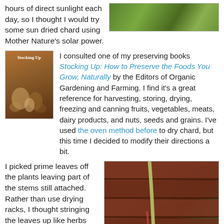hours of direct sunlight each day, so I thought I would try some sun dried chard using Mother Nature's solar power.
[Figure (photo): Garden photo showing leafy green vegetables]
I consulted one of my preserving books Stocking Up: How to Preserve the Foods You Grow, Naturally by the Editors of Organic Gardening and Farming. I find it's a great reference for harvesting, storing, drying, freezing and canning fruits, vegetables, meats, dairy products, and nuts, seeds and grains. I've used the oven method before to dry chard, but this time I decided to modify their directions a bit.
[Figure (photo): Book cover of Stocking Up: How to Preserve the Foods You Grow, Naturally]
I picked prime leaves off the plants leaving part of the stems still attached. Rather than use drying racks, I thought stringing the leaves up like herbs
[Figure (photo): Close-up photo of chard leaves with stems on a wooden surface]